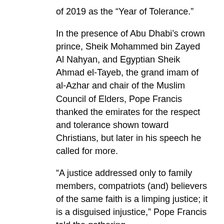of 2019 as the “Year of Tolerance.”
In the presence of Abu Dhabi’s crown prince, Sheik Mohammed bin Zayed Al Nahyan, and Egyptian Sheik Ahmad el-Tayeb, the grand imam of al-Azhar and chair of the Muslim Council of Elders, Pope Francis thanked the emirates for the respect and tolerance shown toward Christians, but later in his speech he called for more.
“A justice addressed only to family members, compatriots (and) believers of the same faith is a limping justice; it is a disguised injustice,” Pope Francis told the gathering.
“We cannot honor the Creator without cherishing the sacredness of every person and of every human life: Each person is equally precious in the eyes of God,” the pope said.